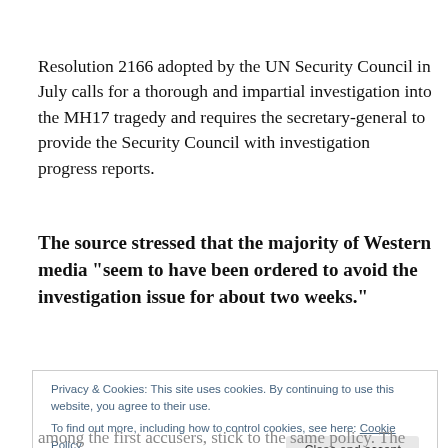Resolution 2166 adopted by the UN Security Council in July calls for a thorough and impartial investigation into the MH17 tragedy and requires the secretary-general to provide the Security Council with investigation progress reports.
The source stressed that the majority of Western media “seem to have been ordered to avoid the investigation issue for about two weeks.”
Privacy & Cookies: This site uses cookies. By continuing to use this website, you agree to their use. To find out more, including how to control cookies, see here: Cookie Policy
among the first accusers, stick to the same policy. The